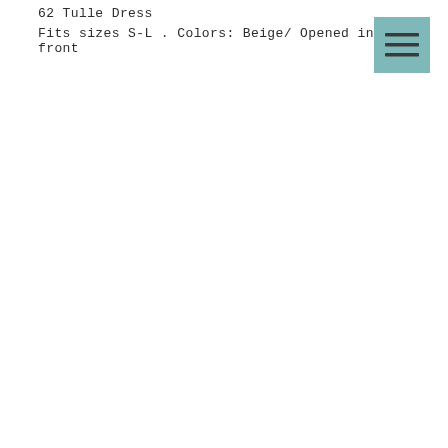62 Tulle Dress
Fits sizes S-L . Colors: Beige/ Opened in the front
[Figure (illustration): Hamburger menu button icon — three horizontal lines on a teal/muted blue-green square background]